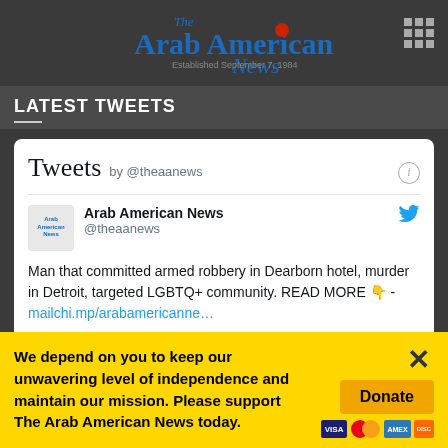[Figure (logo): The Arab American News logo with red ball accent, blue text, established September 7, 1984]
LATEST TWEETS
[Figure (screenshot): Twitter/X embedded widget showing Tweets by @theaanews. Arab American News account tweet: Man that committed armed robbery in Dearborn hotel, murder in Detroit, targeted LGBTQ+ community. READ MORE 👇 - mailchi.mp/arabamericanne…]
We depend on you to keep our unwavering level of independence and maintain our mission. Please support The Arab American News today.